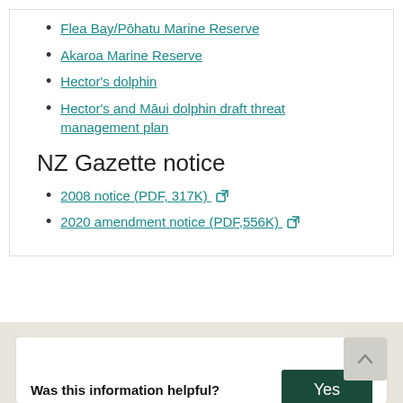Flea Bay/Pōhatu Marine Reserve
Akaroa Marine Reserve
Hector's dolphin
Hector's and Māui dolphin draft threat management plan
NZ Gazette notice
2008 notice (PDF, 317K)
2020 amendment notice (PDF,556K)
Was this information helpful?